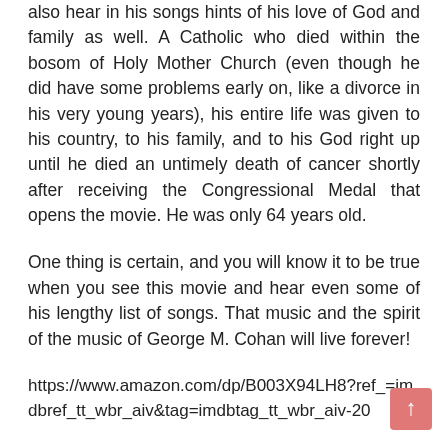also hear in his songs hints of his love of God and family as well. A Catholic who died within the bosom of Holy Mother Church (even though he did have some problems early on, like a divorce in his very young years), his entire life was given to his country, to his family, and to his God right up until he died an untimely death of cancer shortly after receiving the Congressional Medal that opens the movie. He was only 64 years old.
One thing is certain, and you will know it to be true when you see this movie and hear even some of his lengthy list of songs. That music and the spirit of the music of George M. Cohan will live forever!
https://www.amazon.com/dp/B003X94LH8?ref_=imdbref_tt_wbr_aiv&tag=imdbtag_tt_wbr_aiv-20